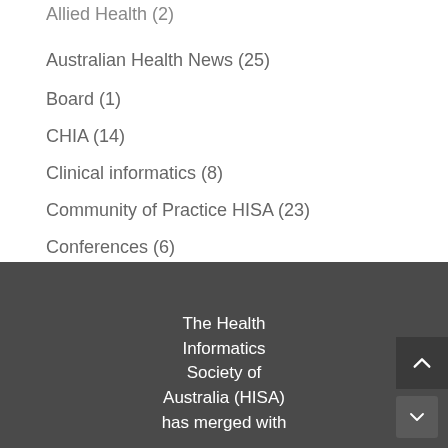Allied Health (2)
Australian Health News (25)
Board (1)
CHIA (14)
Clinical informatics (8)
Community of Practice HISA (23)
Conferences (6)
consumers (1)
cybersecurity (8)
The Health Informatics Society of Australia (HISA) has merged with